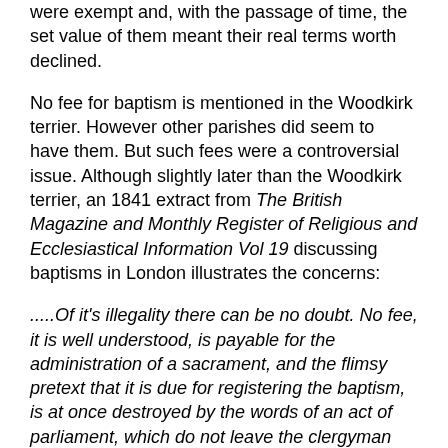were exempt and, with the passage of time, the set value of them meant their real terms worth declined.
No fee for baptism is mentioned in the Woodkirk terrier. However other parishes did seem to have them. But such fees were a controversial issue. Although slightly later than the Woodkirk terrier, an 1841 extract from The British Magazine and Monthly Register of Religious and Ecclesiastical Information Vol 19 discussing baptisms in London illustrates the concerns:
.....Of it's illegality there can be no doubt. No fee, it is well understood, is payable for the administration of a sacrament, and the flimsy pretext that it is due for registering the baptism, is at once destroyed by the words of an act of parliament, which do not leave the clergyman who administers the sacrament of baptism an option in the matter, as he is bound to register the names of all whom